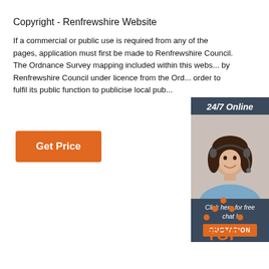Copyright - Renfrewshire Website
If a commercial or public use is required from any of the pages, application must first be made to Renfrewshire Council. The Ordnance Survey mapping included within this webs... by Renfrewshire Council under licence from the Ord... order to fulfil its public function to publicise local pub...
[Figure (infographic): Orange Get Price button]
[Figure (infographic): Ad widget overlay: 24/7 Online with woman wearing headset, Click here for free chat!, QUOTATION button]
[Figure (logo): TOP logo in orange with upward arrow dots]